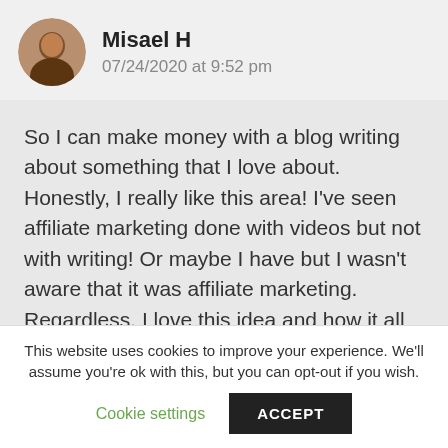Misael H
07/24/2020 at 9:52 pm
So I can make money with a blog writing about something that I love about. Honestly, I really like this area! I've seen affiliate marketing done with videos but not with writing! Or maybe I have but I wasn't aware that it was affiliate marketing. Regardless, I love this idea and how it all
This website uses cookies to improve your experience. We'll assume you're ok with this, but you can opt-out if you wish.
Cookie settings
ACCEPT